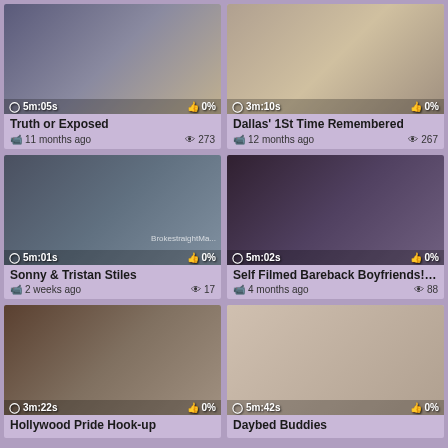[Figure (screenshot): Video thumbnail grid showing 6 video cards with thumbnails, titles, upload dates, view counts, durations, and like percentages on a purple background]
Truth or Exposed
11 months ago  273
Dallas' 1St Time Remembered
12 months ago  267
Sonny & Tristan Stiles
2 weeks ago  17
Self Filmed Bareback Boyfriends! -...
4 months ago  88
Hollywood Pride Hook-up
Daybed Buddies